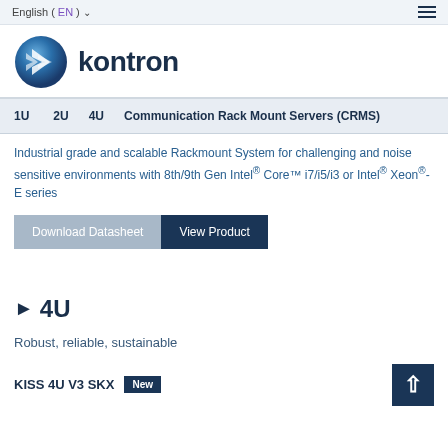English (EN) ▾
[Figure (logo): Kontron company logo with blue globe icon and bold 'kontron' wordmark]
1U  2U  4U  Communication Rack Mount Servers (CRMS)
Industrial grade and scalable Rackmount System for challenging and noise sensitive environments with 8th/9th Gen Intel® Core™ i7/i5/i3 or Intel® Xeon®-E series
Download Datasheet  View Product
► 4U
Robust, reliable, sustainable
KISS 4U V3 SKX  New